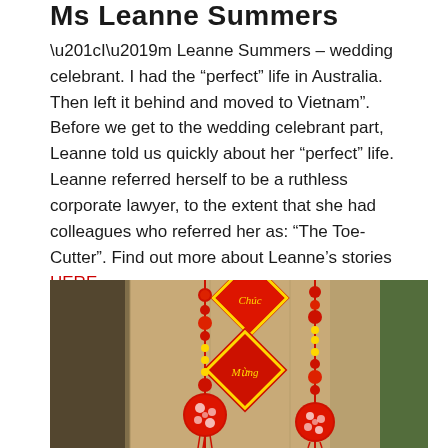Ms Leanne Summers
“I’m Leanne Summers – wedding celebrant. I had the “perfect” life in Australia. Then left it behind and moved to Vietnam”. Before we get to the wedding celebrant part, Leanne told us quickly about her “perfect” life. Leanne referred herself to be a ruthless corporate lawyer, to the extent that she had colleagues who referred her as: “The Toe-Cutter”. Find out more about Leanne’s stories HERE.
[Figure (photo): Photo of traditional Vietnamese/Chinese New Year decorations: red ornamental balls with white floral patterns, red diamond-shaped plaques with gold text, and red tassels with beaded strings hanging against a burlap/fabric background.]